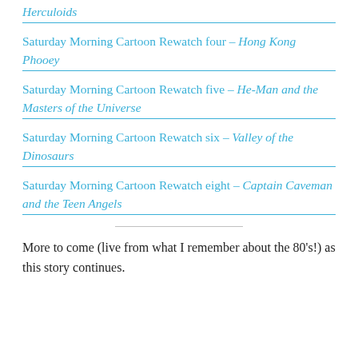Herculoids
Saturday Morning Cartoon Rewatch four – Hong Kong Phooey
Saturday Morning Cartoon Rewatch five – He-Man and the Masters of the Universe
Saturday Morning Cartoon Rewatch six – Valley of the Dinosaurs
Saturday Morning Cartoon Rewatch eight – Captain Caveman and the Teen Angels
More to come (live from what I remember about the 80's!) as this story continues.